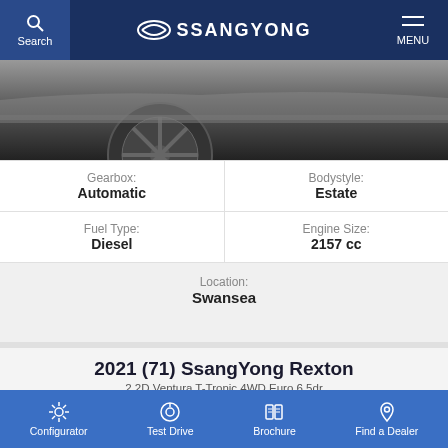SsangYong
[Figure (photo): Bottom portion of a SsangYong vehicle showing alloy wheel and lower body, dark background]
| Gearbox | Bodystyle | Fuel Type | Engine Size | Location |
| --- | --- | --- | --- | --- |
| Automatic | Estate |
| Diesel | 2157 cc |
| Swansea |  |
2021 (71) SsangYong Rexton
2.2D Ventura T-Tronic 4WD Euro 6 5dr
£35,999
BEAT THE WAITING IN ST...
Configurator | Test Drive | Brochure | Find a Dealer